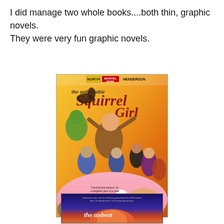I did manage two whole books....both thin, graphic novels. They were very fun graphic novels.
[Figure (photo): Book cover of 'The Unbeatable Squirrel Girl: Squirrel Power' by North and Henderson, Marvel NOW! comic. Cover shows Squirrel Girl jumping with a group of Marvel superheroes, with a squirrel and a large face in the foreground on a pink background.]
[Figure (photo): Partial book cover of a second Squirrel Girl graphic novel, showing the bottom portion with dark blue and orange colors and partial title text.]